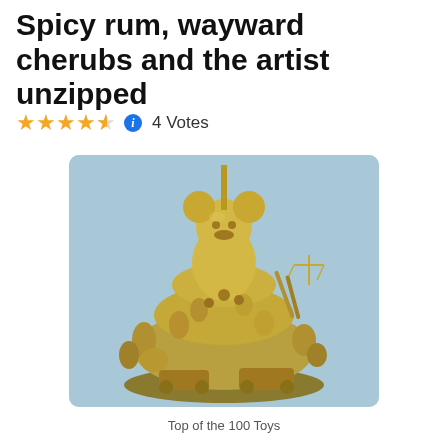Spicy rum, wayward cherubs and the artist unzipped
4 Votes
[Figure (photo): A golden sculpture resembling a Mickey Mouse figure perched atop a large pile of golden toy soldiers, weapons, vehicles, and assorted figurines. The sculpture is set against a light blue background.]
Top of the 100 Toys